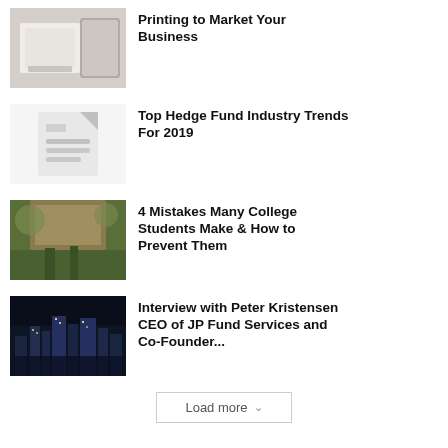[Figure (photo): Partial view of printer/paper rolls]
Printing to Market Your Business
[Figure (illustration): Document icon placeholder image]
Top Hedge Fund Industry Trends For 2019
[Figure (photo): Students walking outside a college building]
4 Mistakes Many College Students Make & How to Prevent Them
[Figure (photo): City skyline at night]
Interview with Peter Kristensen CEO of JP Fund Services and Co-Founder...
Load more